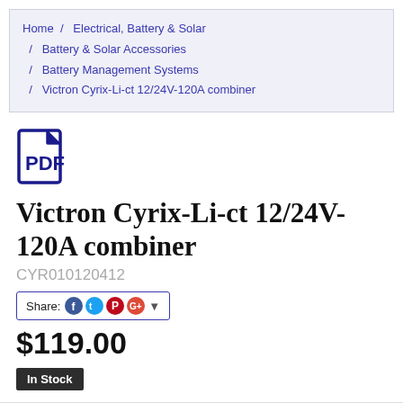Home / Electrical, Battery & Solar / Battery & Solar Accessories / Battery Management Systems / Victron Cyrix-Li-ct 12/24V-120A combiner
[Figure (other): PDF document icon — dark blue outlined file icon with PDF symbol inside]
Victron Cyrix-Li-ct 12/24V-120A combiner
CYR010120412
Share: [Facebook] [Twitter] [Pinterest] [Google+] [dropdown]
$119.00
In Stock